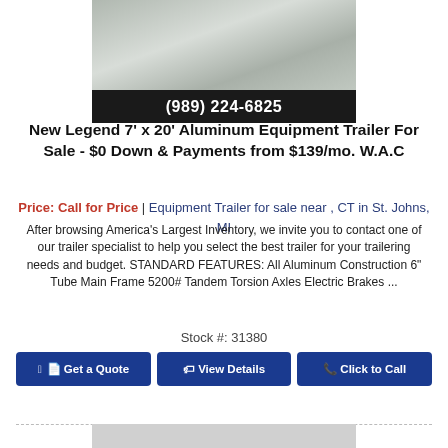[Figure (photo): Photo of a Legend aluminum equipment trailer, showing the flatbed trailer from the side/front angle on a concrete surface. Below the photo is a black bar with phone number (989) 224-6825.]
New Legend 7' x 20' Aluminum Equipment Trailer For Sale - $0 Down & Payments from $139/mo. W.A.C
Price: Call for Price | Equipment Trailer for sale near , CT in St. Johns, MI
After browsing America's Largest Inventory, we invite you to contact one of our trailer specialist to help you select the best trailer for your trailering needs and budget. STANDARD FEATURES: All Aluminum Construction 6" Tube Main Frame 5200# Tandem Torsion Axles Electric Brakes ...
Stock #: 31380
Get a Quote | View Details | Click to Call